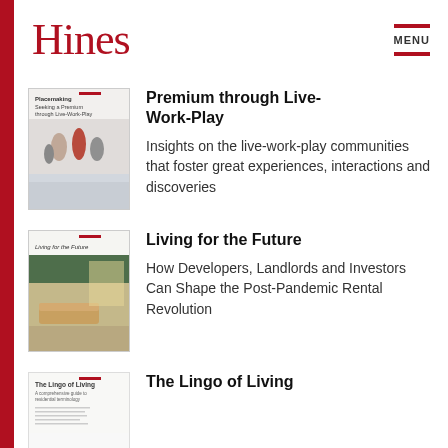Hines
MENU
[Figure (illustration): Thumbnail cover image for 'Premium through Live-Work-Play' report showing people near a fountain]
Premium through Live-Work-Play
Insights on the live-work-play communities that foster great experiences, interactions and discoveries
[Figure (illustration): Thumbnail cover image for 'Living for the Future' report showing a modern interior lounge space]
Living for the Future
How Developers, Landlords and Investors Can Shape the Post-Pandemic Rental Revolution
[Figure (illustration): Thumbnail cover image for 'The Lingo of Living' report showing text-heavy white cover]
The Lingo of Living